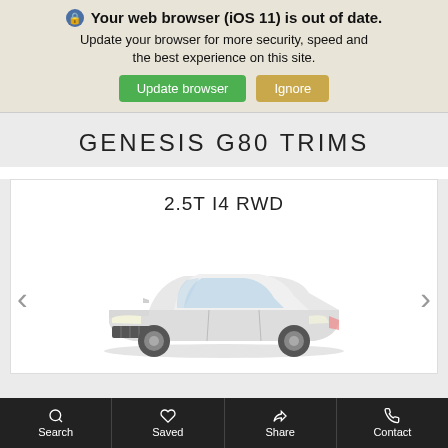Your web browser (iOS 11) is out of date. Update your browser for more security, speed and the best experience on this site.
Update browser | Ignore
GENESIS G80 TRIMS
2.5T I4 RWD
[Figure (photo): White Genesis G80 luxury sedan shown in three-quarter front view]
Search | Saved | Share | Contact